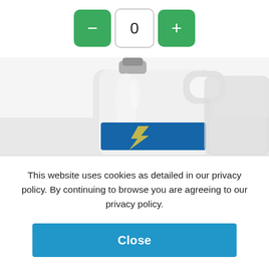[Figure (screenshot): Quantity selector with minus button (green), a display box showing 0, and plus button (green)]
[Figure (photo): White plastic jerrycan container with a blue label containing a yellow lightning bolt graphic, partially visible, blurred background]
This website uses cookies as detailed in our privacy policy. By continuing to browse you are agreeing to our privacy policy.
Close